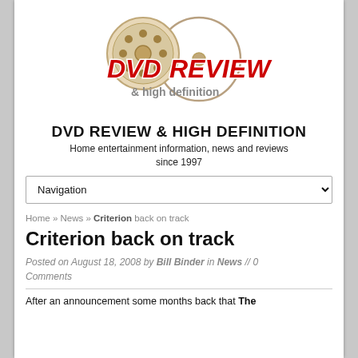[Figure (logo): DVD Review & High Definition logo with film reel and DVD disc graphics, red italic bold text 'DVD REVIEW' and grey text '& high definition']
DVD REVIEW & HIGH DEFINITION
Home entertainment information, news and reviews since 1997
Navigation
Home » News » Criterion back on track
Criterion back on track
Posted on August 18, 2008 by Bill Binder in News // 0 Comments
After an announcement some months back that The